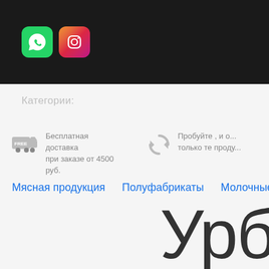[Figure (screenshot): Dark header bar with WhatsApp (green) and Instagram (gradient) app icons]
Категории:
Бесплатная доставка при заказе от 4500 руб.
Пробуйте , и о... только те проду...
Мясная продукция
Полуфабрикаты
Молочные проду...
Урб